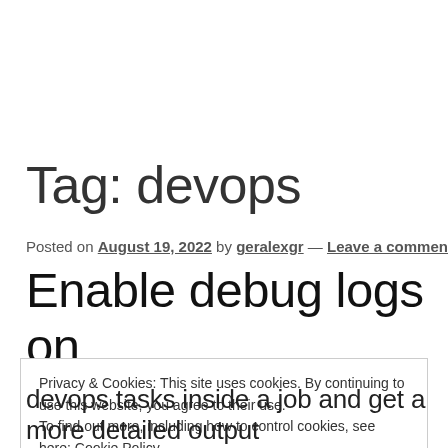Tag: devops
Posted on August 19, 2022 by geralexgr — Leave a comment
Enable debug logs on
Privacy & Cookies: This site uses cookies. By continuing to use this website, you agree to their use.
To find out more, including how to control cookies, see here: Cookie Policy
Close and accept
devops tasks inside a job and get a more detailed output